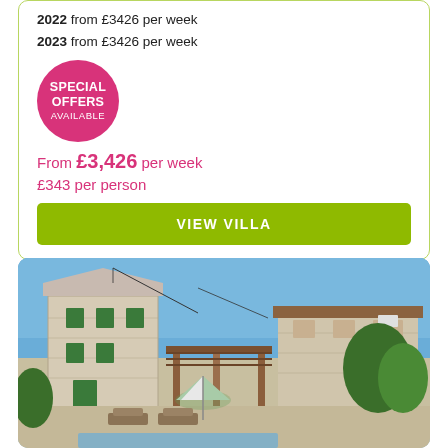2022 from £3426 per week
2023 from £3426 per week
[Figure (illustration): Circular pink badge with white text reading SPECIAL OFFERS AVAILABLE]
From £3,426 per week
£343 per person
VIEW VILLA
[Figure (photo): Exterior photo of a stone villa with green shutters, a wooden pergola/carport, sun loungers and striped beach umbrellas near a pool, under a blue sky]